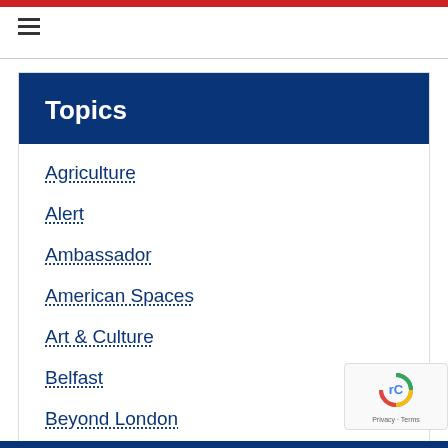≡
Topics
Agriculture
Alert
Ambassador
American Spaces
Art & Culture
Belfast
Beyond London
Business
Show More ∨